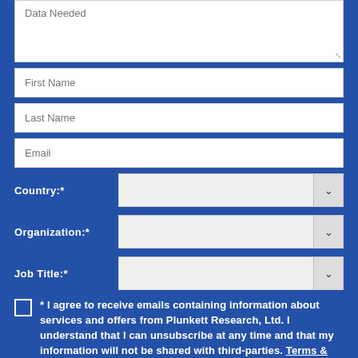Data Needed (textarea placeholder)
First Name
Last Name
Email
Country:*
Organization:*
Job Title:*
* I agree to receive emails containing information about services and offers from Plunkett Research, Ltd. I understand that I can unsubscribe at any time and that my information will not be shared with third-parties. Terms & Conditions